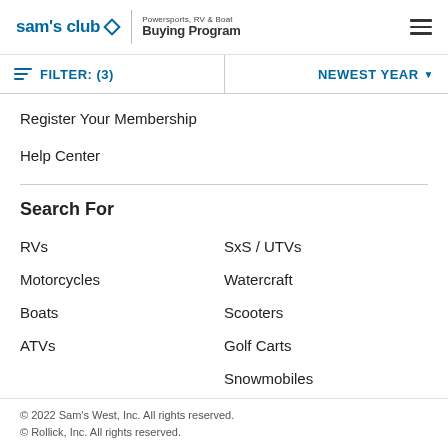sam's club — Powersports, RV & Boat Buying Program
FILTER: (3)   NEWEST YEAR
Register Your Membership
Help Center
Search For
RVs
SxS / UTVs
Motorcycles
Watercraft
Boats
Scooters
ATVs
Golf Carts
Snowmobiles
© 2022 Sam's West, Inc. All rights reserved.
© Rollick, Inc. All rights reserved.